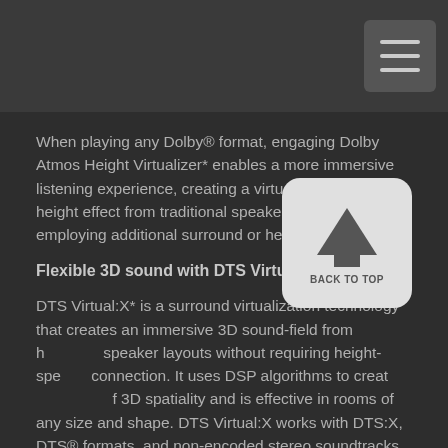When playing any Dolby® format, engaging Dolby Atmos Height Virtualizer* enables a more immersive listening experience, creating a virtual surround and height effect from traditional speaker layouts without employing additional surround or height speakers.
Flexible 3D sound with DTS Virtual:X™
DTS Virtual:X* is a surround virtualization technology that creates an immersive 3D sound-field from horizontal speaker layouts without requiring height-speaker connection. It uses DSP algorithms to create the effect of 3D spatiality and is effective in rooms of any size and shape. DTS Virtual:X works with DTS:X, DTS® formats, and non-encoded stereo soundtracks.
Dynamic Audio Amplification